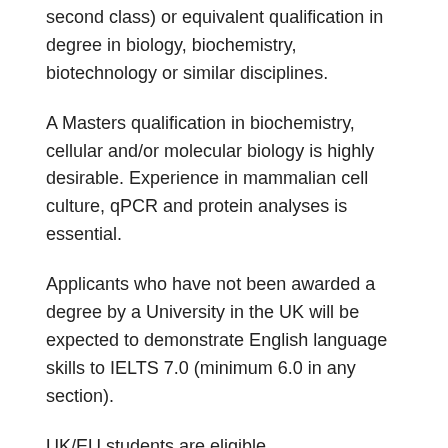second class) or equivalent qualification in degree in biology, biochemistry, biotechnology or similar disciplines.
A Masters qualification in biochemistry, cellular and/or molecular biology is highly desirable. Experience in mammalian cell culture, qPCR and protein analyses is essential.
Applicants who have not been awarded a degree by a University in the UK will be expected to demonstrate English language skills to IELTS 7.0 (minimum 6.0 in any section).
UK/EU students are eligible.
How to Apply
If you wish to apply, need to take part in PhD Studentship at the university. After being enrolled you can fill the application form and send it will supporting documents (CV, copy of your highest degree certificate & transcript, copy of your English language qualification